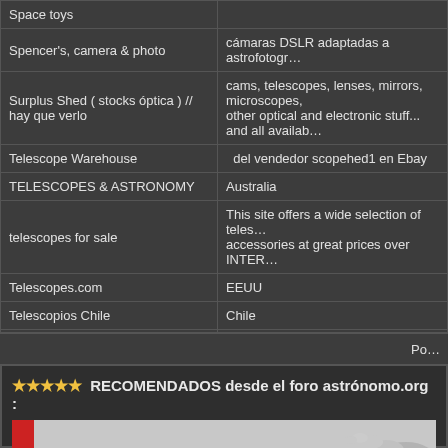| Name | Description |
| --- | --- |
| Space toys |  |
| Spencer's, camera & photo | cámaras DSLR adaptadas a astrofotogr… |
| Surplus Shed ( stocks óptica ) // hay que verlo | cams, telescopes, lenses, mirrors, microscopes, other optical and electronic stuff... and all availab… |
| Telescope Warehouse | del vendedor scopehed1 en Ebay |
| TELESCOPES & ASTRONOMY | Australia |
| telescopes for sale | This site offers a wide selection of teles… accessories at great prices over INTER… |
| Telescopes.com | EEUU |
| Telescopios Chile | Chile |
| the Shoestring Astronomy Store | autoguia, modificaciones EQ5, motor e… |
| TMB Apochromats |  |
Pages: [1]
Re…
Po…
★★★★★ RECOMENDADOS desde el foro astrónomo.org :
[Figure (photo): Red bar and hand/person image at bottom of page]